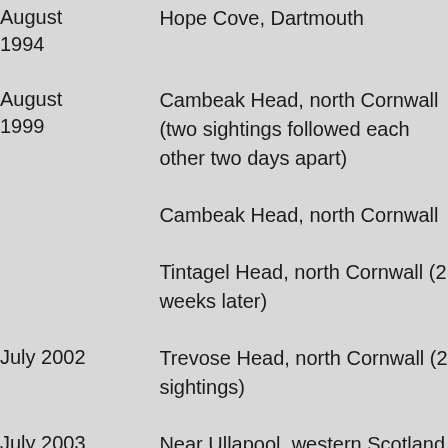| Date | Location |
| --- | --- |
| August 1994 | Hope Cove, Dartmouth |
| August 1999 | Cambeak Head, north Cornwall (two sightings followed each other two days apart) |
|  | Cambeak Head, north Cornwall |
|  | Tintagel Head, north Cornwall (2 weeks later) |
| July 2002 | Trevose Head, north Cornwall (2 sightings) |
| July 2003 | Near Ullapool, western Scotland |